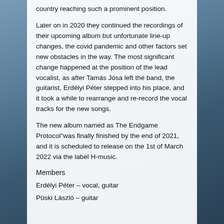country reaching such a prominent position.
Later on in 2020 they continued the recordings of their upcoming album but unfortunate line-up changes, the covid pandemic and other factors set new obstacles in the way. The most significant change happened at the position of the lead vocalist, as after Tamás Jósa left the band, the guitarist, Erdélyi Péter stepped into his place, and it took a while to rearrange and re-record the vocal tracks for the new songs.
The new album named as The Endgame Protocol"was finally finished by the end of 2021, and it is scheduled to release on the 1st of March 2022 via the label H-music.
Members
Erdélyi Péter – vocal, guitar
Püski László – guitar